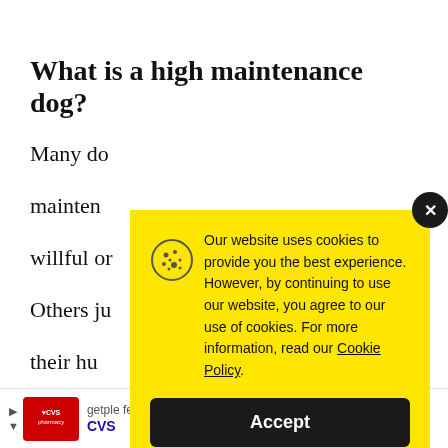What is a high maintenance dog?
Many do[gs are considered high]
mainten[ance...]
willful or[...]
Others ju[st...]
their hu[mans...]
or suffer[...]
[Figure (screenshot): Cookie consent popup overlay on a yellow background. Contains cookie icon, text: 'Our website uses cookies to provide you the best experience. However, by continuing to use our website, you agree to our use of cookies. For more information, read our Cookie Policy.' with an Accept button and X close button.]
[Figure (screenshot): CVS Pharmacy advertisement banner at the bottom of the page showing CVS logo, navigation arrows, and a blue diamond icon.]